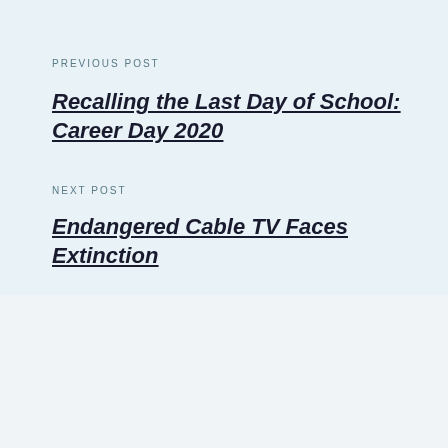PREVIOUS POST
Recalling the Last Day of School: Career Day 2020
NEXT POST
Endangered Cable TV Faces Extinction
SEND US YOUR THOUGHTS!